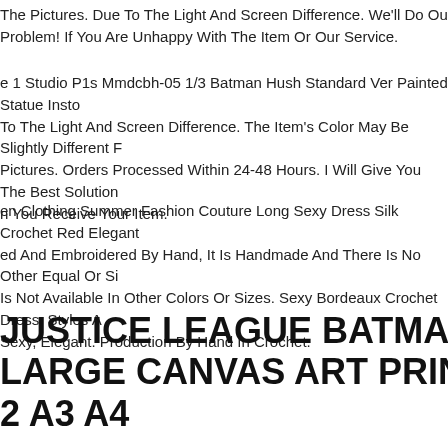The Pictures. Due To The Light And Screen Difference. We'll Do Our Best To Re Problem! If You Are Unhappy With The Item Or Our Service.
e 1 Studio P1s Mmdcbh-05 1/3 Batman Hush Standard Ver Painted Statue Insto To The Light And Screen Difference. The Item's Color May Be Slightly Different F Pictures. Orders Processed Within 24-48 Hours. I Will Give You The Best Solution n You Receive Your Item.
en Clothing Summer Fashion Couture Long Sexy Dress Silk Crochet Red Elegant ed And Embroidered By Hand, It Is Handmade And There Is No Other Equal Or Si Is Not Available In Other Colors Or Sizes. Sexy Bordeaux Crochet Dress. Styles A Sexy, Elegant. Production By Hand In Crochet.
JUSTICE LEAGUE BATMAN SUPERMAN LARGE CANVAS ART PRINT GIFT A0 A1 2 A3 A4
Are Looking At Aone Of A Kind Premium Professionally Printed Canvas Art Print. n Depth Canvas Art. These Bespoke Designs Are Professionally Printed Onto Th Durable Premium Print Materials Using Non Fade Non Run Uv Stable Inks For Vi Lasting Wall Decors.